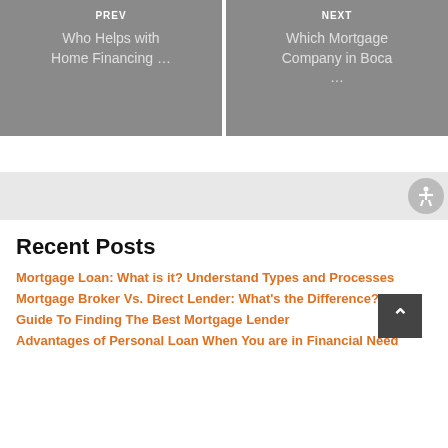[Figure (screenshot): PREV navigation box with gray background showing 'Who Helps with Home Financing ...']
[Figure (screenshot): NEXT navigation box with gray background showing 'Which Mortgage Company in Boca ...']
[Figure (other): Accessibility toolbar bar with accessibility icon on the right]
Recent Posts
Mortgage Loan: What is it? Understand Types and Processes
Mortgage Broker Vs. Direct Lender: What's the Difference?
Guide To Finding The Best Mortgage Lender
Advantages of Personal Loan When You are in Financial Need